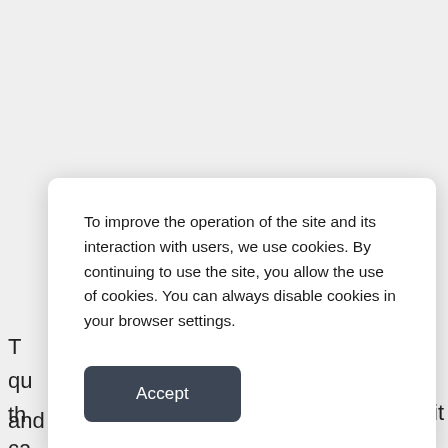T
qu
th
ca
fa
and give a second life.
To improve the operation of the site and its interaction with users, we use cookies. By continuing to use the site, you allow the use of cookies. You can always disable cookies in your browser settings.
Accept